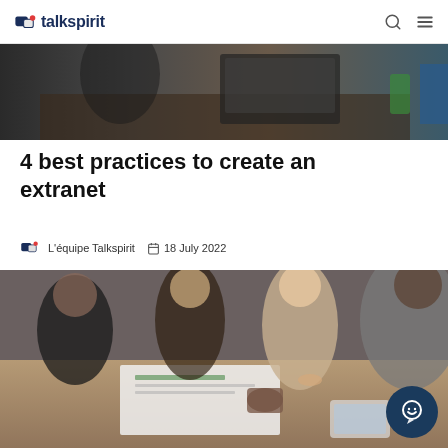talkspirit
[Figure (photo): Partial view of people working at a desk with laptops, top portion of photo visible]
4 best practices to create an extranet
L'équipe Talkspirit   18 July 2022
[Figure (photo): Business meeting scene with four people around a table looking at documents, with a yellow badge overlay and dark chat widget in corner]